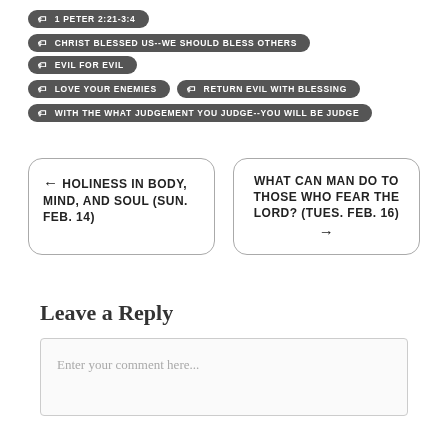1 PETER 2:21-3:4
CHRIST BLESSED US--WE SHOULD BLESS OTHERS
EVIL FOR EVIL
LOVE YOUR ENEMIES
RETURN EVIL WITH BLESSING
WITH THE WHAT JUDGEMENT YOU JUDGE--YOU WILL BE JUDGE
← HOLINESS IN BODY, MIND, AND SOUL (SUN. FEB. 14)
WHAT CAN MAN DO TO THOSE WHO FEAR THE LORD? (TUES. FEB. 16) →
Leave a Reply
Enter your comment here...